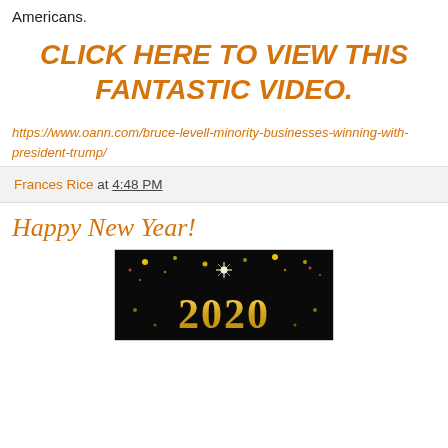Americans.
CLICK HERE TO VIEW THIS FANTASTIC VIDEO.
https://www.oann.com/bruce-levell-minority-businesses-winning-with-president-trump/
Frances Rice at 4:48 PM
Happy New Year!
[Figure (photo): New Year 2020 celebration image with golden sparkles and confetti on a dark background showing '2020' in gold text with festive decorations]